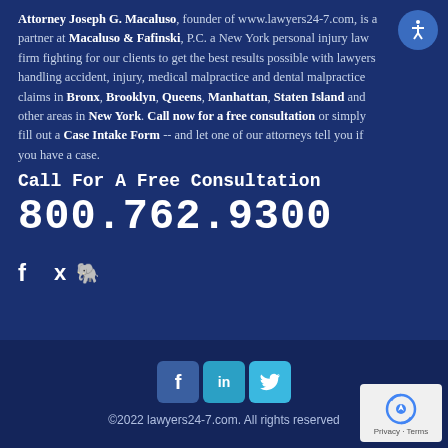Attorney Joseph G. Macaluso, founder of www.lawyers24-7.com, is a partner at Macaluso & Fafinski, P.C. a New York personal injury law firm fighting for our clients to get the best results possible with lawyers handling accident, injury, medical malpractice and dental malpractice claims in Bronx, Brooklyn, Queens, Manhattan, Staten Island and other areas in New York. Call now for a free consultation or simply fill out a Case Intake Form -- and let one of our attorneys tell you if you have a case.
Call For A Free Consultation
800.762.9300
[Figure (infographic): Social media icons: Facebook (f) and Twitter (bird icon) in large white text]
©2022 lawyers24-7.com. All rights reserved
[Figure (infographic): Footer social media buttons: Facebook, LinkedIn, Twitter rounded square icons and reCAPTCHA Privacy Terms badge]